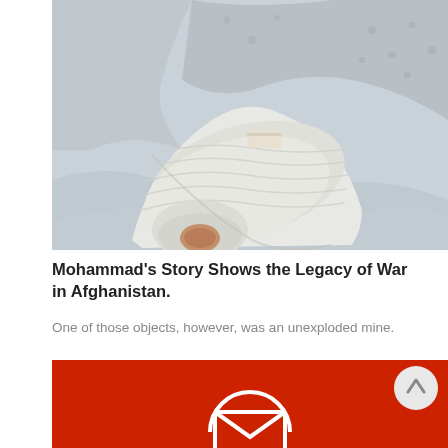[Figure (photo): Close-up photo of a person's bandaged arm/hand lying on white bedding. The limb is heavily wrapped in white medical bandages, with the end of the stump visible. The person is wearing a light gray patterned garment.]
Mohammad's Story Shows the Legacy of War in Afghanistan.
One of those objects, however, was an unexploded mine.
[Figure (other): Red banner/block with a white envelope/newsletter icon at the bottom center and a light gray circular scroll-up button on the right side.]